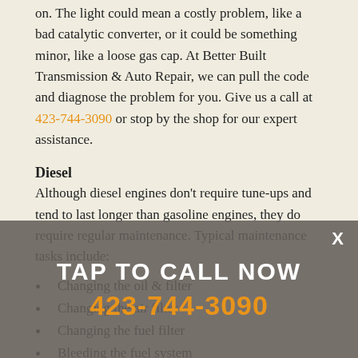on. The light could mean a costly problem, like a bad catalytic converter, or it could be something minor, like a loose gas cap. At Better Built Transmission & Auto Repair, we can pull the code and diagnose the problem for you. Give us a call at 423-744-3090 or stop by the shop for our expert assistance.
Diesel
Although diesel engines don't require tune-ups and tend to last longer than gasoline engines, they do require regular maintenance. Typical maintenance tasks include:
Changing the oil & filter
Changing the air filter
Changing the fuel filter
Bleeding the fuel system
Draining the water separators
Refilling the urea injection system
TAP TO CALL NOW
423-744-3090